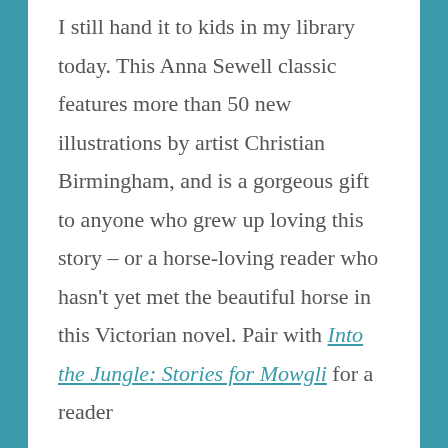I still hand it to kids in my library today. This Anna Sewell classic features more than 50 new illustrations by artist Christian Birmingham, and is a gorgeous gift to anyone who grew up loving this story – or a horse-loving reader who hasn't yet met the beautiful horse in this Victorian novel. Pair with Into the Jungle: Stories for Mowgli for a reader